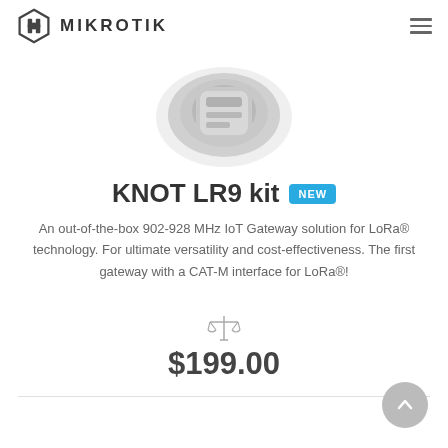MikroTik
[Figure (photo): Partial product image of MikroTik KNOT LR9 kit device, showing top portion of the hardware against white background]
KNOT LR9 kit NEW
An out-of-the-box 902-928 MHz IoT Gateway solution for LoRa® technology. For ultimate versatility and cost-effectiveness. The first gateway with a CAT-M interface for LoRa®!
[Figure (illustration): Compare scales/balance icon in grey]
$199.00